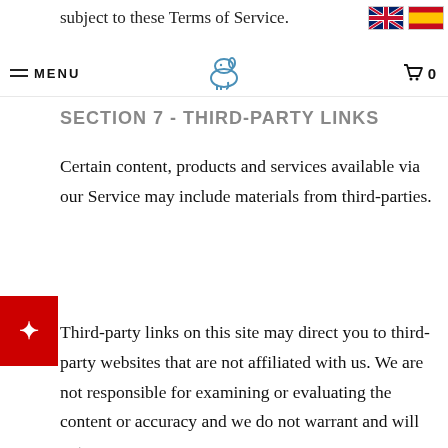subject to these Terms of Service.
MENU [nav bar with logo and cart]
SECTION 7 - THIRD-PARTY LINKS
Certain content, products and services available via our Service may include materials from third-parties.
Third-party links on this site may direct you to third-party websites that are not affiliated with us. We are not responsible for examining or evaluating the content or accuracy and we do not warrant and will not